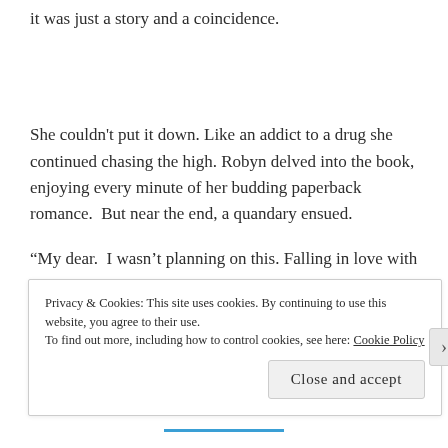it was just a story and a coincidence.
She couldn't put it down. Like an addict to a drug she continued chasing the high. Robyn delved into the book, enjoying every minute of her budding paperback romance.  But near the end, a quandary ensued.
“My dear.  I wasn’t planning on this. Falling in love with
Privacy & Cookies: This site uses cookies. By continuing to use this website, you agree to their use.
To find out more, including how to control cookies, see here: Cookie Policy
Close and accept